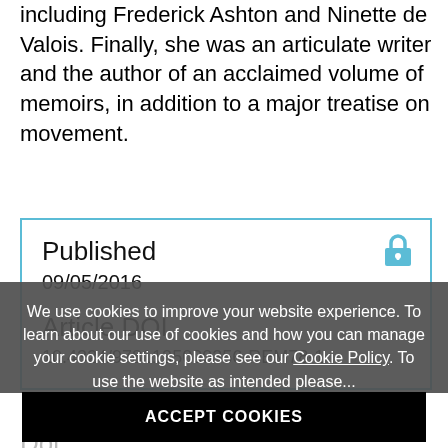including Frederick Ashton and Ninette de Valois. Finally, she was an articulate writer and the author of an acclaimed volume of memoirs, in addition to a major treatise on movement.
Published
09/05/2016

Article DOI
10.4324/9781135000356-REM78-1
We use cookies to improve your website experience. To learn about our use of cookies and how you can manage your cookie settings, please see our Cookie Policy. To use the website as intended please...
ACCEPT COOKIES